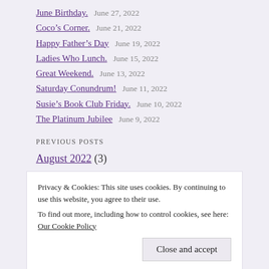June Birthday.   June 27, 2022
Coco’s Corner.   June 21, 2022
Happy Father’s Day   June 19, 2022
Ladies Who Lunch.   June 15, 2022
Great Weekend.   June 13, 2022
Saturday Conundrum!   June 11, 2022
Susie’s Book Club Friday.   June 10, 2022
The Platinum Jubilee   June 9, 2022
PREVIOUS POSTS
August 2022 (3)
Privacy & Cookies: This site uses cookies. By continuing to use this website, you agree to their use.
To find out more, including how to control cookies, see here: Our Cookie Policy
February 2022 (10)